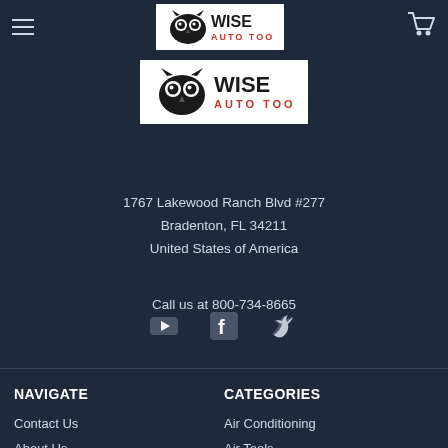[Figure (logo): Wise Auto Tools logo in top navigation bar, white background with owl icon and WISE AUTO TOOLS text]
[Figure (logo): Wise Auto Tools logo centered on page, white background with owl icon and WISE AUTO TOOLS text in red]
1767 Lakewood Ranch Blvd #277
Bradenton, FL 34211
United States of America

Call us at 800-734-8665
[Figure (infographic): Social media icons: YouTube, Facebook, Twitter]
NAVIGATE
CATEGORIES
Contact Us
Air Conditioning
About Us
Air Tools